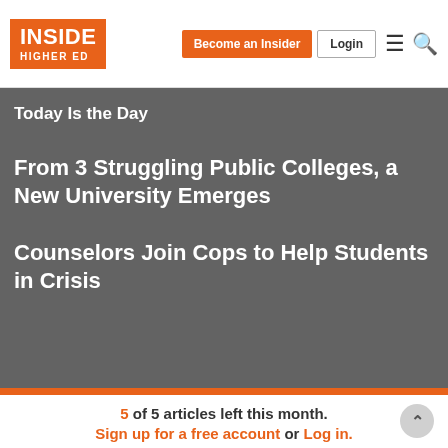Inside Higher Ed — Become an Insider | Login
Today Is the Day
From 3 Struggling Public Colleges, a New University Emerges
Counselors Join Cops to Help Students in Crisis
5 of 5 articles left this month. Sign up for a free account or Log in.